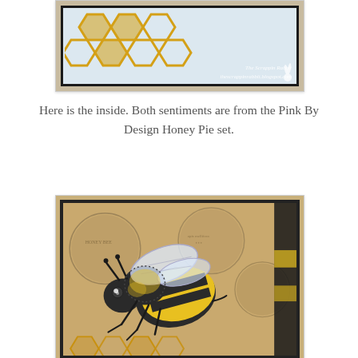[Figure (photo): Top portion of a handmade greeting card showing the inside with honeycomb pattern in gold on a light blue background, framed in dark brown/black, with 'The Scrappin Rabbit' watermark and website thescrappinrabbit.blogspot.com]
Here is the inside. Both sentiments are from the Pink By Design Honey Pie set.
[Figure (photo): Close-up photo of a handmade card featuring a large illustrated bumblebee (black and yellow) on a background with vintage-style circular elements and honeycomb pattern in gold at the bottom, dark border]